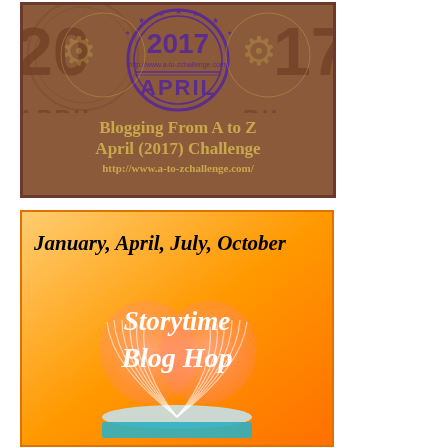[Figure (illustration): A to Z Challenge 2017 banner with brown background, purple circular stamp/gear design showing '2017' and 'APRIL', with gold text reading 'Blogging From A to Z April (2017) Challenge http://www.a-to-zchallenge.com/']
[Figure (illustration): Storytime Blog Hop banner with orange gradient background, black italic text 'January, April, July, October' at top, white italic text 'Storytime Blog Hop' in center, with an open book forming a heart shape at the bottom]